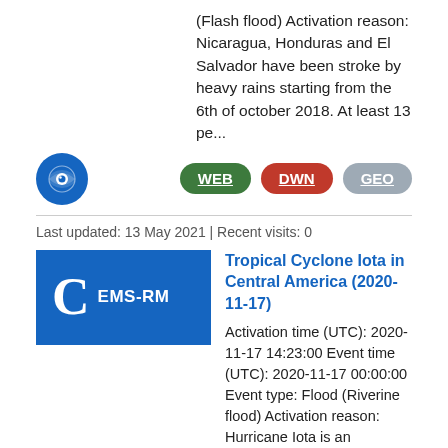(Flash flood) Activation reason: Nicaragua, Honduras and El Salvador have been stroke by heavy rains starting from the 6th of october 2018. At least 13 pe...
[Figure (logo): Blue circular icon with an eye symbol (COPERNICUS EMS logo)]
WEB DWN GEO
Last updated: 13 May 2021 | Recent visits: 0
[Figure (logo): Blue rectangle badge with capital C and text EMS-RM]
Tropical Cyclone Iota in Central America (2020-11-17)
Activation time (UTC): 2020-11-17 14:23:00 Event time (UTC): 2020-11-17 00:00:00 Event type: Flood (Riverine flood) Activation reason: Hurricane Iota is an extremely strong hurricane bringing very high levels of rainfalls to Honduras, Nicaragua and